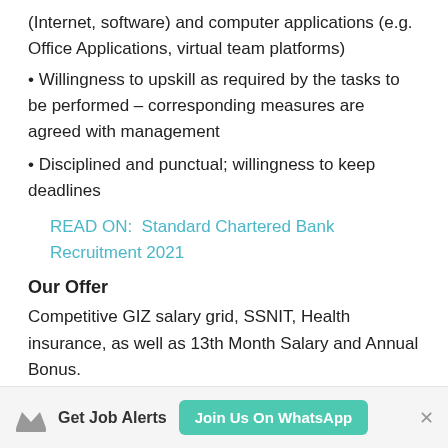(Internet, software) and computer applications (e.g. Office Applications, virtual team platforms)
• Willingness to upskill as required by the tasks to be performed – corresponding measures are agreed with management
• Disciplined and punctual; willingness to keep deadlines
READ ON:  Standard Chartered Bank Recruitment 2021
Our Offer
Competitive GIZ salary grid, SSNIT, Health insurance, as well as 13th Month Salary and Annual Bonus.
Location: Accra
Get Job Alerts  Join Us On WhatsApp  ×